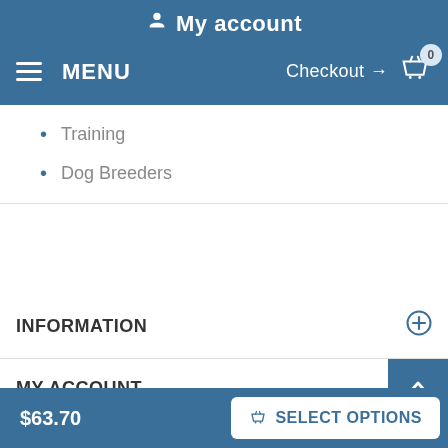My account
MENU | Checkout → 0
Training
Dog Breeders
INFORMATION
MY ACCOUNT
$63.70
SELECT OPTIONS